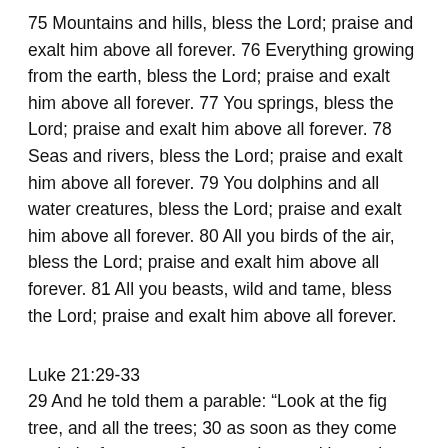75 Mountains and hills, bless the Lord; praise and exalt him above all forever. 76 Everything growing from the earth, bless the Lord; praise and exalt him above all forever. 77 You springs, bless the Lord; praise and exalt him above all forever. 78 Seas and rivers, bless the Lord; praise and exalt him above all forever. 79 You dolphins and all water creatures, bless the Lord; praise and exalt him above all forever. 80 All you birds of the air, bless the Lord; praise and exalt him above all forever. 81 All you beasts, wild and tame, bless the Lord; praise and exalt him above all forever.
Luke 21:29-33
29 And he told them a parable: “Look at the fig tree, and all the trees; 30 as soon as they come out in leaf, you see for yourselves and know that the summer is already near. 31 So also, when you see these things taking place, you know that the kingdom of God is near. 32 Truly, I say to you, this generation will not pass away till all has taken place. 33